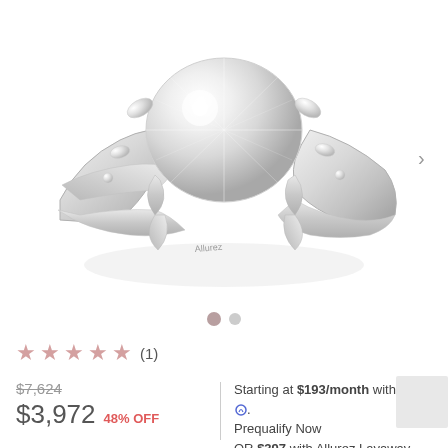[Figure (photo): Close-up photo of a diamond engagement ring with twisted/braided white gold band, marquise and round diamonds along the band, large center diamond, Allurez brand marking on band interior. White background product shot.]
(1) star rating with 1 review
$7,624 original price, $3,972 48% OFF
Starting at $193/month with affirm. Prequalify Now OR $397 with Allurez Layaway. Learn More